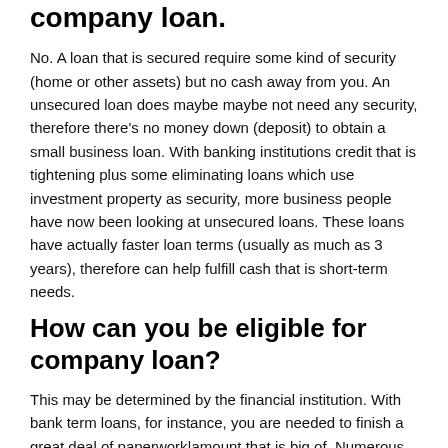company loan.
No. A loan that is secured require some kind of security (home or other assets) but no cash away from you. An unsecured loan does maybe maybe not need any security, therefore there’s no money down (deposit) to obtain a small business loan. With banking institutions credit that is tightening plus some eliminating loans which use investment property as security, more business people have now been looking at unsecured loans. These loans have actually faster loan terms (usually as much as 3 years), therefore can help fulfill cash that is short-term needs.
How can you be eligible for company loan?
This may be determined by the financial institution. With bank term loans, for instance, you are needed to finish a great deal of paperwork|amount that is big of. Numerous traditional loan providers will need some type of security, frequently residential or commercial home. Internet business loan providers, such as